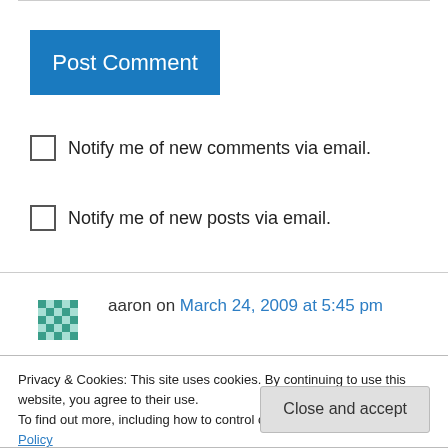[Figure (other): Blue 'Post Comment' button]
Notify me of new comments via email.
Notify me of new posts via email.
aaron on March 24, 2009 at 5:45 pm
nice. costco is awesome. the steak was great too!
Privacy & Cookies: This site uses cookies. By continuing to use this website, you agree to their use.
To find out more, including how to control cookies, see here: Cookie Policy